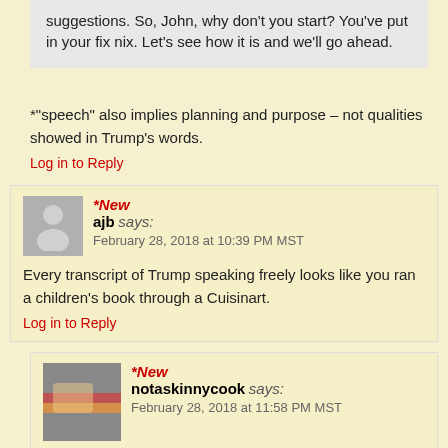suggestions. So, John, why don't you start? You've put in your fix nix. Let's see how it is and we'll go ahead.
*"speech" also implies planning and purpose – not qualities showed in Trump's words.
Log in to Reply
*New
ajb says:
February 28, 2018 at 10:39 PM MST
Every transcript of Trump speaking freely looks like you ran a children's book through a Cuisinart.
Log in to Reply
*New
notaskinnycook says:
February 28, 2018 at 11:58 PM MST